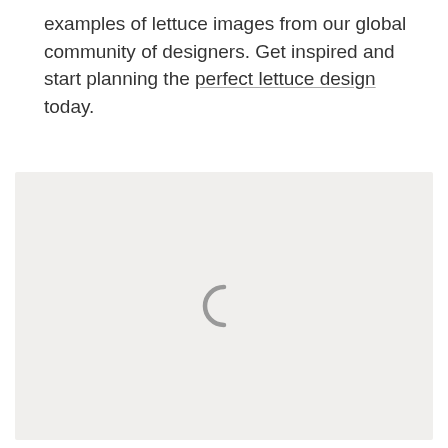examples of lettuce images from our global community of designers. Get inspired and start planning the perfect lettuce design today.
[Figure (other): Loading placeholder area with a light gray background and a circular loading spinner icon centered within it.]